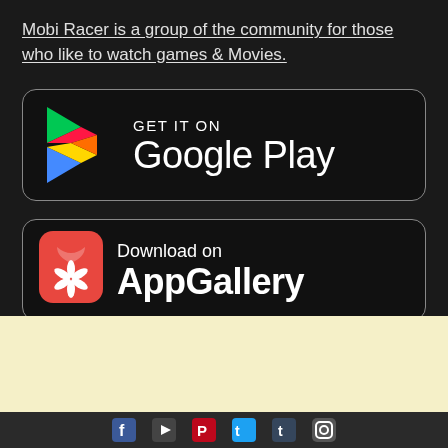Mobi Racer is a group of the community for those who like to watch games & Movies.
[Figure (logo): GET IT ON Google Play store button with Google Play triangle logo in red, yellow, green, blue]
[Figure (logo): Download on AppGallery button with Huawei red app icon]
[Figure (other): Social media icons footer bar (Facebook, YouTube/Play, Pinterest, Twitter, Tumblr, Instagram) on dark background, with light yellow section above]